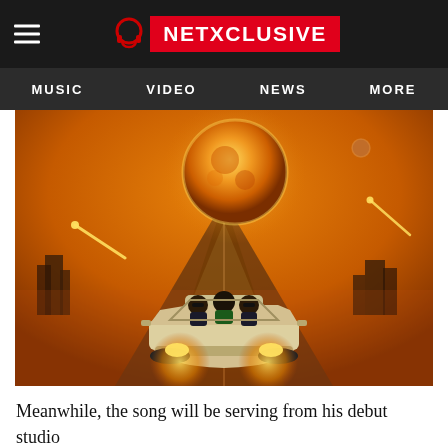NETXCLUSIVE
MUSIC  VIDEO  NEWS  MORE
[Figure (photo): Three people riding in a white convertible car driving on a road toward the viewer, set against a dramatic orange-toned sci-fi background with a large glowing planet, shooting stars, and ruined cityscape.]
Meanwhile, the song will be serving from his debut studio